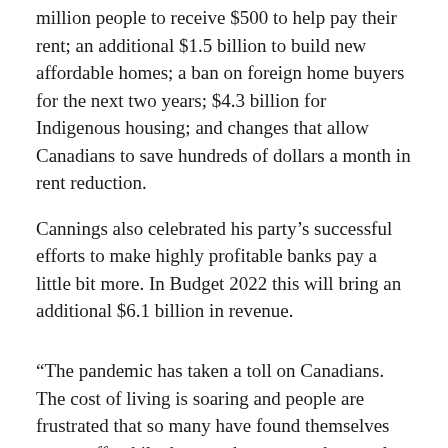million people to receive $500 to help pay their rent; an additional $1.5 billion to build new affordable homes; a ban on foreign home buyers for the next two years; $4.3 billion for Indigenous housing; and changes that allow Canadians to save hundreds of dollars a month in rent reduction.
Cannings also celebrated his party’s successful efforts to make highly profitable banks pay a little bit more. In Budget 2022 this will bring an additional $6.1 billion in revenue.
“The pandemic has taken a toll on Canadians. The cost of living is soaring and people are frustrated that so many have found themselves worse off, while those at the very top have only increased their wealth and power. Canadians want us to fight to make their lives better, and this is exactly what we have done” said Cannings.
However on the climate crisis front, Cannings overwhelmingly criticized the Liberal budget for taking the country in the wrong direction. “We need to stop giving billions to big oil